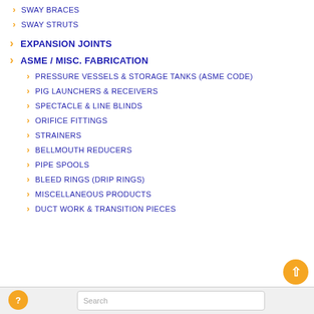SWAY BRACES
SWAY STRUTS
EXPANSION JOINTS
ASME / MISC. FABRICATION
PRESSURE VESSELS & STORAGE TANKS (ASME CODE)
PIG LAUNCHERS & RECEIVERS
SPECTACLE & LINE BLINDS
ORIFICE FITTINGS
STRAINERS
BELLMOUTH REDUCERS
PIPE SPOOLS
BLEED RINGS (DRIP RINGS)
MISCELLANEOUS PRODUCTS
DUCT WORK & TRANSITION PIECES